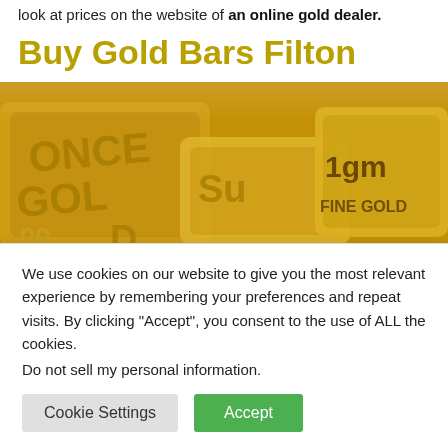look at prices on the website of an online gold dealer.
Buy Gold Bars Filton
[Figure (photo): Close-up photograph of gold bars including one marked '1gm FINE GOLD' and others showing 'ONCE GOLD' and partial text, all in shiny golden color.]
Gold bars can come from a number of different producers like Metalor, PAMP Suiss, Umicore, Emirates, etc, and can be all kinds of shapes and weights, from 1 Gram to several
We use cookies on our website to give you the most relevant experience by remembering your preferences and repeat visits. By clicking “Accept”, you consent to the use of ALL the cookies.
Do not sell my personal information.
Cookie Settings | Accept